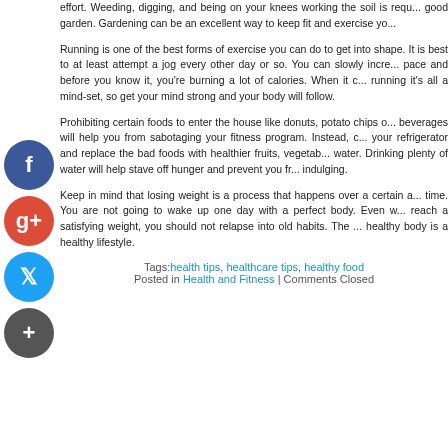effort. Weeding, digging, and being on your knees working the soil is required to have a good garden. Gardening can be an excellent way to keep fit and exercise yo...
Running is one of the best forms of exercise you can do to get into shape. It is best to at least attempt a jog every other day or so. You can slowly increase your pace and before you know it, you're burning a lot of calories. When it comes to running it's all a mind-set, so get your mind strong and your body will follow.
Prohibiting certain foods to enter the house like donuts, potato chips or sugary beverages will help you from sabotaging your fitness program. Instead, clean out your refrigerator and replace the bad foods with healthier fruits, vegetables, and water. Drinking plenty of water will help stave off hunger and prevent you from indulging.
Keep in mind that losing weight is a process that happens over a certain amount of time. You are not going to wake up one day with a perfect body. Even when you reach a satisfying weight, you should not relapse into old habits. The key to a healthy body is a healthy lifestyle.
Tags: health tips, healthcare tips, healthy food
Posted in Health and Fitness | Comments Closed